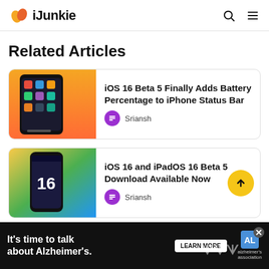iJunkie
Related Articles
[Figure (screenshot): iPhone home screen with app icons on orange/dark background]
iOS 16 Beta 5 Finally Adds Battery Percentage to iPhone Status Bar
Sriansh
[Figure (photo): iPhone showing iOS 16 logo on yellow/green gradient background]
iOS 16 and iPadOS 16 Beta 5 Download Available Now
Sriansh
[Figure (screenshot): Partial third article card with purple/blue tones]
It's time to talk about Alzheimer's. LEARN MORE